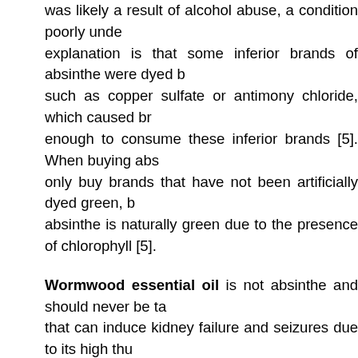was likely a result of alcohol abuse, a condition poorly unde explanation is that some inferior brands of absinthe were dyed b such as copper sulfate or antimony chloride, which caused br enough to consume these inferior brands [5]. When buying abs only buy brands that have not been artificially dyed green, b absinthe is naturally green due to the presence of chlorophyll [5].
Wormwood essential oil is not absinthe and should never be ta that can induce kidney failure and seizures due to its high thu wormwood oil is not used in aromatherapy. It may be used in mi perfume blend along with other licorice-like or floral essential oils and neroli.
Interestingly, a recent double-blind placebo-controlled study ex wormwood preparation made from the fresh leaves to relieve the Both groups of subjects had their Crohn's Disease under contro before the study. During the trial, the steroid therapies were re was given a preparation of wormwood while the control group The control group experienced the expected worsening of symt